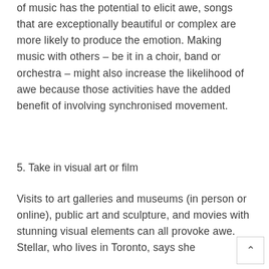of music has the potential to elicit awe, songs that are exceptionally beautiful or complex are more likely to produce the emotion. Making music with others – be it in a choir, band or orchestra – might also increase the likelihood of awe because those activities have the added benefit of involving synchronised movement.
5. Take in visual art or film
Visits to art galleries and museums (in person or online), public art and sculpture, and movies with stunning visual elements can all provoke awe. Stellar, who lives in Toronto, says she